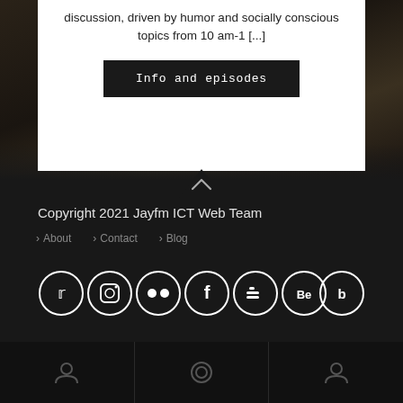discussion, driven by humor and socially conscious topics from 10 am-1 [...]
Info and episodes
[Figure (photo): Dark background photo of people, partially visible behind white content card]
[Figure (illustration): Dark upward-pointing chevron/arrow divider between photo area and footer]
Copyright 2021 Jayfm ICT Web Team
> About > Contact > Blog
[Figure (illustration): Row of 7 social media icons in white circles: Twitter, Instagram, Flickr, Facebook, Blogger, Behance, and another icon]
[Figure (illustration): Bottom bar with three sections each containing an icon]